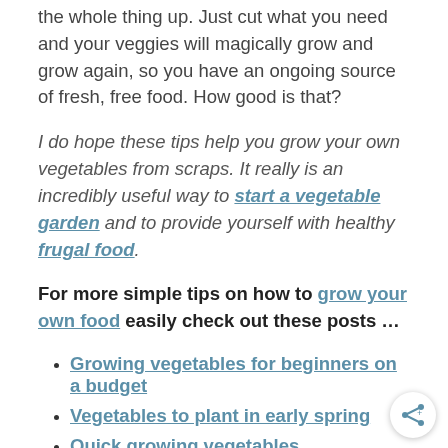the whole thing up. Just cut what you need and your veggies will magically grow and grow again, so you have an ongoing source of fresh, free food. How good is that?
I do hope these tips help you grow your own vegetables from scraps. It really is an incredibly useful way to start a vegetable garden and to provide yourself with healthy frugal food.
For more simple tips on how to grow your own food easily check out these posts …
Growing vegetables for beginners on a budget
Vegetables to plant in early spring
Quick growing vegetables